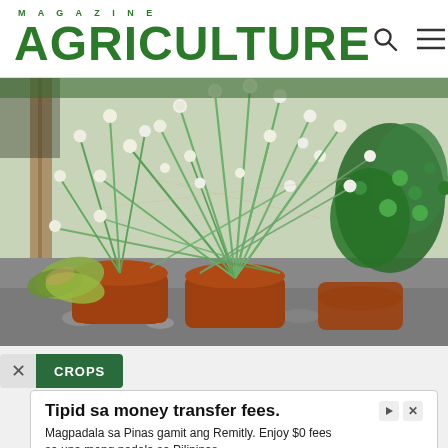MAGAZINE AGRICULTURE
[Figure (photo): Close-up photo of green onion or chive plants in terracotta pots, with long thin stems topped with white round buds/flowers, surrounded by leafy green plants and other potted plants in an outdoor or semi-indoor setting.]
CROPS
Tipid sa money transfer fees.
Magpadala sa Pinas gamit ang Remitly. Enjoy $0 fees sa una mong padala sa Pilipinas.
Remitly
Visit Site